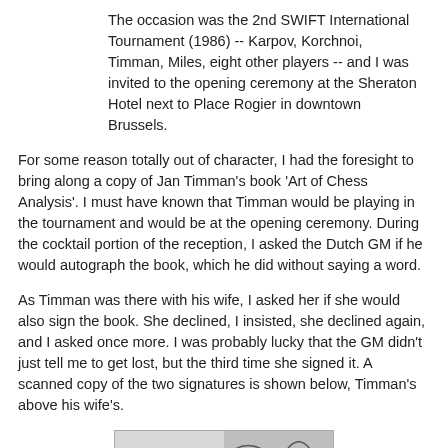The occasion was the 2nd SWIFT International Tournament (1986) -- Karpov, Korchnoi, Timman, Miles, eight other players -- and I was invited to the opening ceremony at the Sheraton Hotel next to Place Rogier in downtown Brussels.
For some reason totally out of character, I had the foresight to bring along a copy of Jan Timman's book 'Art of Chess Analysis'. I must have known that Timman would be playing in the tournament and would be at the opening ceremony. During the cocktail portion of the reception, I asked the Dutch GM if he would autograph the book, which he did without saying a word.
As Timman was there with his wife, I asked her if she would also sign the book. She declined, I insisted, she declined again, and I asked once more. I was probably lucky that the GM didn't just tell me to get lost, but the third time she signed it. A scanned copy of the two signatures is shown below, Timman's above his wife's.
[Figure (photo): A scanned image showing two signatures, Timman's above his wife's, partially visible at the bottom of the page.]